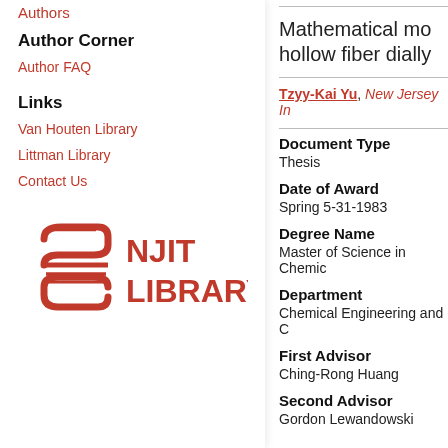Authors
Author Corner
Author FAQ
Links
Van Houten Library
Littman Library
Contact Us
[Figure (logo): NJIT Library logo in red with stylized book/S icon]
Mathematical mo hollow fiber dialy
Tzyy-Kai Yu, New Jersey In
Document Type
Thesis
Date of Award
Spring 5-31-1983
Degree Name
Master of Science in Chemic
Department
Chemical Engineering and C
First Advisor
Ching-Rong Huang
Second Advisor
Gordon Lewandowski